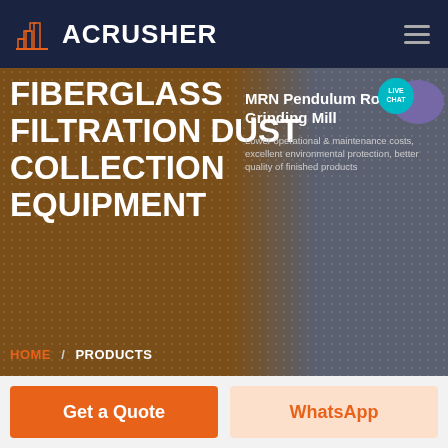ACRUSHER
FIBERGLASS FILTRATION DUST COLLECTION EQUIPMENT
MRN Pendulum Roller Grinding Mill
Lower operational & maintenance costs, excellent environmental protection, better quality of finished products
HOME / PRODUCTS
Get a Quote
WhatsApp